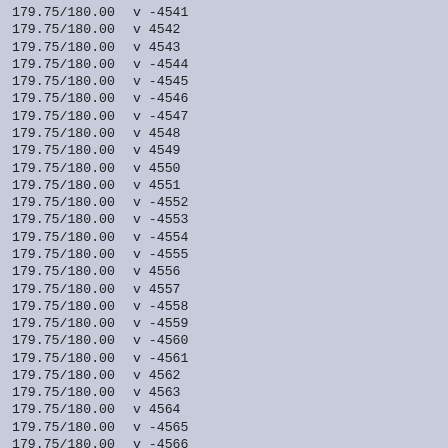| 179.75/180.00 | v | -4541 |
| 179.75/180.00 | v | 4542 |
| 179.75/180.00 | v | 4543 |
| 179.75/180.00 | v | -4544 |
| 179.75/180.00 | v | -4545 |
| 179.75/180.00 | v | -4546 |
| 179.75/180.00 | v | -4547 |
| 179.75/180.00 | v | 4548 |
| 179.75/180.00 | v | 4549 |
| 179.75/180.00 | v | 4550 |
| 179.75/180.00 | v | 4551 |
| 179.75/180.00 | v | -4552 |
| 179.75/180.00 | v | -4553 |
| 179.75/180.00 | v | -4554 |
| 179.75/180.00 | v | -4555 |
| 179.75/180.00 | v | 4556 |
| 179.75/180.00 | v | 4557 |
| 179.75/180.00 | v | -4558 |
| 179.75/180.00 | v | -4559 |
| 179.75/180.00 | v | -4560 |
| 179.75/180.00 | v | -4561 |
| 179.75/180.00 | v | 4562 |
| 179.75/180.00 | v | 4563 |
| 179.75/180.00 | v | 4564 |
| 179.75/180.00 | v | -4565 |
| 179.75/180.00 | v | -4566 |
| 179.75/180.00 | v | 4567 |
| 179.75/180.00 | v | 4568 |
| 179.75/180.00 | v | 4569 |
| 179.75/180.00 | v | -4570 |
| 179.75/180.00 | v | 4571 |
| 179.75/180.00 | v | 4572 |